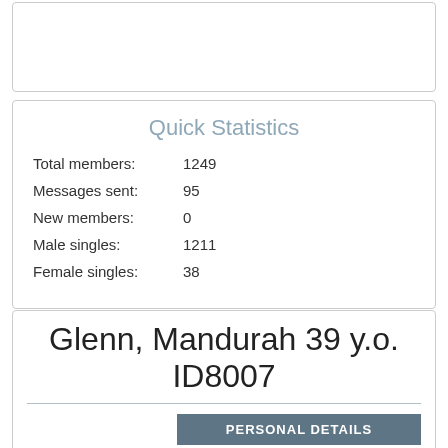Quick Statistics
Total members: 1249
Messages sent: 95
New members: 0
Male singles: 1211
Female singles: 38
Glenn, Mandurah 39 y.o. ID8007
| PERSONAL DETAILS |  |
| --- | --- |
| Name: | Glenn |
| Age: | 39 years and 17 days |
| City: | Mandurah, Australia |
| Marital status: | Never married |